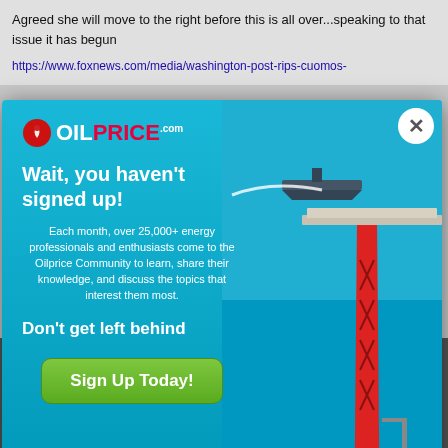Agreed she will move to the right before this is all over...speaking to that issue it has begun
https://www.foxnews.com/media/washington-post-rips-cuomos-
[Figure (screenshot): OilPrice.com popup advertisement overlay on a web page. The popup features an oil rig and ship in a blue ocean background. Contains OilPrice logo, headline 'Wait, you haven't signed up!', body text 'Each month, over 25,000+ energy professionals and enthusiasts come to the Oilprice Community to learn, share their knowledge, and discuss the topics that interest them most.', subheadline 'Don't get left behind', and a green 'Sign Up Today!' button. A white circular close (X) button appears in the top right corner.]
Cuomo's